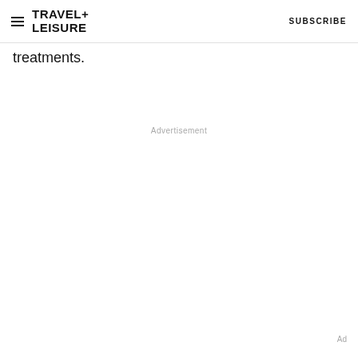TRAVEL+LEISURE  SUBSCRIBE
treatments.
Advertisement
Ad